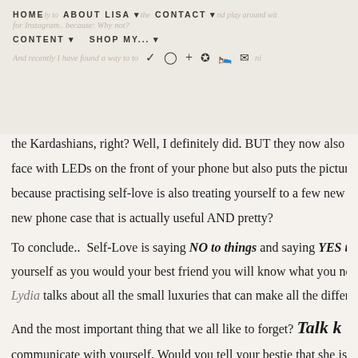HOME | ABOUT LISA | CONTACT | CONTENT | SHOP MY... [navigation bar with social icons]
the Kardashians, right? Well, I definitely did. BUT they now also have face with LEDs on the front of your phone but also puts the pictures you because practising self-love is also treating yourself to a few new things new phone case that is actually useful AND pretty?
To conclude.. Self-Love is saying NO to things and saying YES t yourself as you would your best friend you will know what you need. Lydia talks about all the small luxuries that can make all the difference.
And the most important thing that we all like to forget? Talk k communicate with yourself. Would you tell your bestie that she is t enough? NO! So why would you tell these things to yourself over and there is something you need to change... criticize constructively.